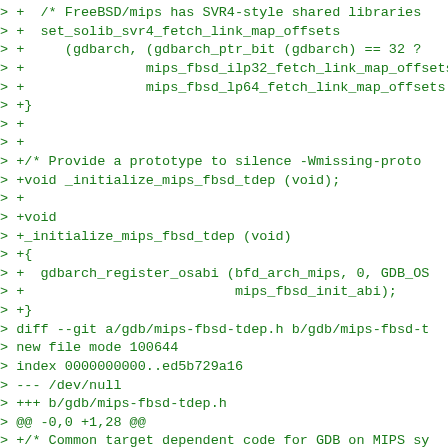> +  /* FreeBSD/mips has SVR4-style shared libraries
> +  set_solib_svr4_fetch_link_map_offsets
> +     (gdbarch, (gdbarch_ptr_bit (gdbarch) == 32 ?
> +               mips_fbsd_ilp32_fetch_link_map_offsets
> +               mips_fbsd_lp64_fetch_link_map_offsets
> +}
> +
> +
> +/* Provide a prototype to silence -Wmissing-proto
> +void _initialize_mips_fbsd_tdep (void);
> +
> +void
> +_initialize_mips_fbsd_tdep (void)
> +{
> +  gdbarch_register_osabi (bfd_arch_mips, 0, GDB_OS
> +                          mips_fbsd_init_abi);
> +}
> diff --git a/gdb/mips-fbsd-tdep.h b/gdb/mips-fbsd-t
> new file mode 100644
> index 0000000000..ed5b729a16
> --- /dev/null
> +++ b/gdb/mips-fbsd-tdep.h
> @@ -0,0 +1,28 @@
> +/* Common target dependent code for GDB on MIPS sy
> +
> +   Copyright (C) 2016 Free Software Foundation, In
> +
> +   This file is part of GDB.
> +
> +   This program is free software; you can redistr:
> +   it under the terms of the GNU General Public Li
> +   the Free Software Foundation; either version